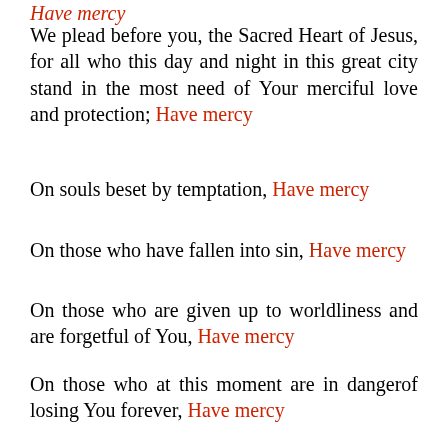Have mercy (partial, top, red) — continuation from previous page
We plead before you, the Sacred Heart of Jesus, for all who this day and night in this great city stand in the most need of Your merciful love and protection; Have mercy
On souls beset by temptation, Have mercy
On those who have fallen into sin, Have mercy
On those who are given up to worldliness and are forgetful of You, Have mercy
On those who at this moment are in dangerof losing You forever, Have mercy
On those who are tempting others, may they convert to Your love; Have mercy
By your Agony, Save them, Jesus; Have mercy